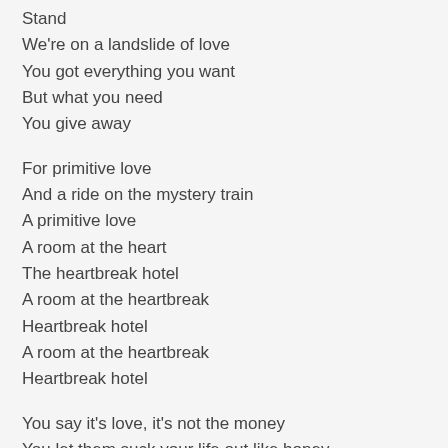Stand
We're on a landslide of love
You got everything you want
But what you need
You give away

For primitive love
And a ride on the mystery train
A primitive love
A room at the heart
The heartbreak hotel
A room at the heartbreak
Heartbreak hotel
A room at the heartbreak
Heartbreak hotel

You say it's love, it's not the money
You let them suck your life out like honey
Turning tricks, you're on the street
Sell...